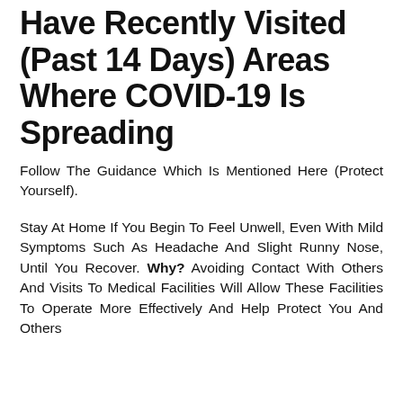Have Recently Visited (Past 14 Days) Areas Where COVID-19 Is Spreading
Follow The Guidance Which Is Mentioned Here (Protect Yourself).
Stay At Home If You Begin To Feel Unwell, Even With Mild Symptoms Such As Headache And Slight Runny Nose, Until You Recover. Why? Avoiding Contact With Others And Visits To Medical Facilities Will Allow These Facilities To Operate More Effectively And Help Protect You And Others